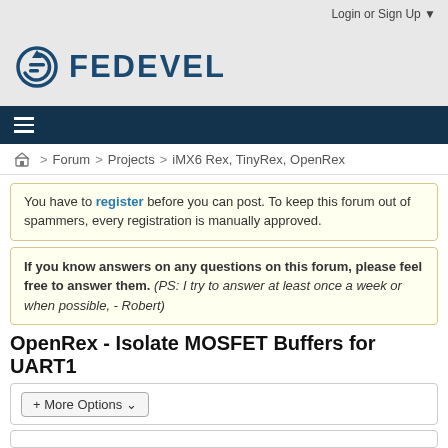Login or Sign Up ▼
[Figure (logo): FEDEVEL logo with circular arrow icon in dark blue]
≡
Forum > Projects > iMX6 Rex, TinyRex, OpenRex
You have to register before you can post. To keep this forum out of spammers, every registration is manually approved.
If you know answers on any questions on this forum, please feel free to answer them. (PS: I try to answer at least once a week or when possible, - Robert)
OpenRex - Isolate MOSFET Buffers for UART1
+ More Options ✓